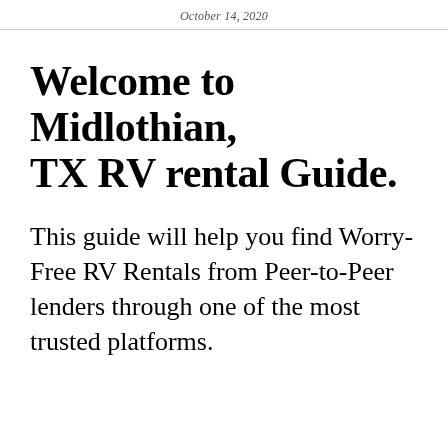October 14, 2020
Welcome to Midlothian, TX RV rental Guide.
This guide will help you find Worry-Free RV Rentals from Peer-to-Peer lenders through one of the most trusted platforms.